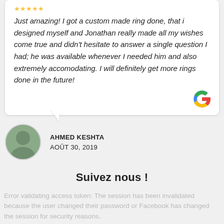Just amazing! I got a custom made ring done, that i designed myself and Jonathan really made all my wishes come true and didn't hesitate to answer a single question I had; he was available whenever I needed him and also extremely accomodating. I will definitely get more rings done in the future!
AHMED KESHTA
AOÛT 30, 2019
Suivez nous !
Error validating access token: The session has been invalidated because the user changed their password or Facebook has changed the session for security reasons.